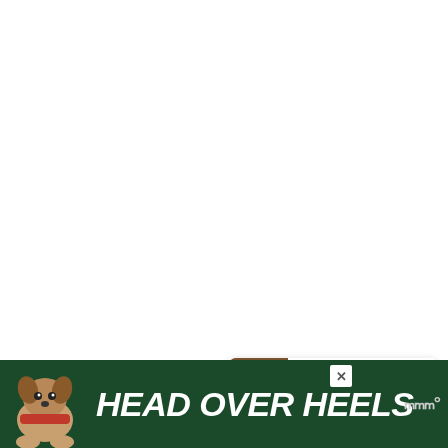[Figure (screenshot): White content area (main page body, mostly blank/white)]
[Figure (infographic): Heart/like button (red circle with white heart icon), like count '6', and share button (light circle with share icon)]
6
[Figure (infographic): WHAT'S NEXT card showing a food thumbnail and text 'Vegan Blueberry...']
[Figure (infographic): Advertisement banner: dark green background, dog illustration, bold white italic text 'HEAD OVER HEELS', close X button, Wealthsimple logo mark]